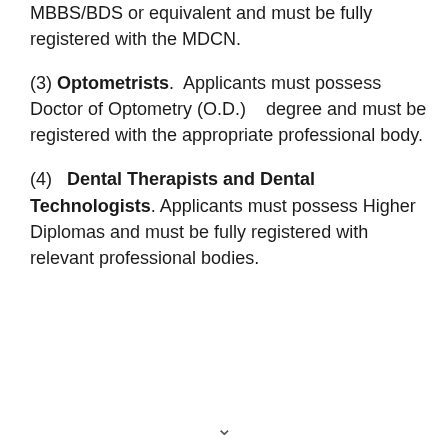MBBS/BDS or equivalent and must be fully registered with the MDCN.
(3) Optometrists. Applicants must possess Doctor of Optometry (O.D.) degree and must be registered with the appropriate professional body.
(4) Dental Therapists and Dental Technologists. Applicants must possess Higher Diplomas and must be fully registered with relevant professional bodies.